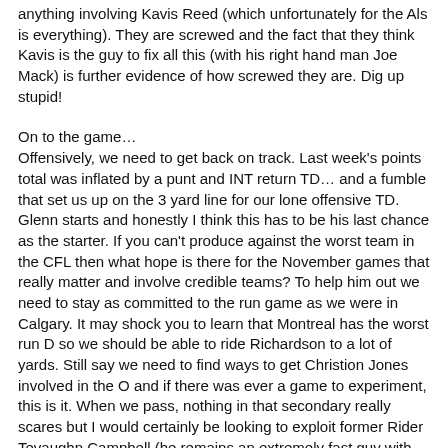anything involving Kavis Reed (which unfortunately for the Als is everything). They are screwed and the fact that they think Kavis is the guy to fix all this (with his right hand man Joe Mack) is further evidence of how screwed they are. Dig up stupid!
On to the game… Offensively, we need to get back on track. Last week's points total was inflated by a punt and INT return TD… and a fumble that set us up on the 3 yard line for our lone offensive TD. Glenn starts and honestly I think this has to be his last chance as the starter. If you can't produce against the worst team in the CFL then what hope is there for the November games that really matter and involve credible teams? To help him out we need to stay as committed to the run game as we were in Calgary. It may shock you to learn that Montreal has the worst run D so we should be able to ride Richardson to a lot of yards. Still say we need to find ways to get Christion Jones involved in the O and if there was ever a game to experiment, this is it. When we pass, nothing in that secondary really scares but I would certainly be looking to exploit former Rider Tevaughn Campbell (he remains an extremely fast guy with minimal ball skills. Case in point the time he gave up a safety on an interception).
Defensively bring the pressure. For all the things the Als do poorly (aka pretty much everything) they can run the ball effectively (#2 in the League). We need to take that away from them. I have always been a big Durant fan but one of his recurring deficiencies